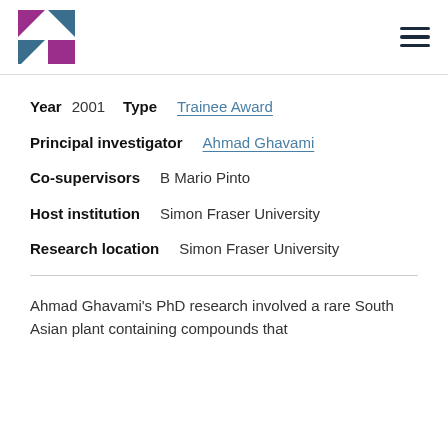Logo and navigation
Year 2001  Type Trainee Award
Principal investigator  Ahmad Ghavami
Co-supervisors  B Mario Pinto
Host institution  Simon Fraser University
Research location  Simon Fraser University
Ahmad Ghavami's PhD research involved a rare South Asian plant containing compounds that